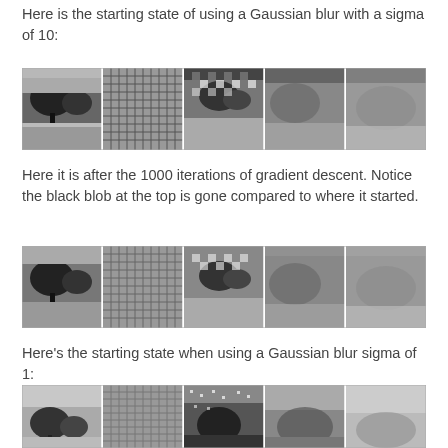Here is the starting state of using a Gaussian blur with a sigma of 10:
[Figure (photo): Strip of 5 grayscale image panels showing the starting state with Gaussian blur sigma=10. Panels show a scene with trees and a building, with various frequency/noise patterns overlaid.]
Here it is after the 1000 iterations of gradient descent. Notice the black blob at the top is gone compared to where it started.
[Figure (photo): Strip of 5 grayscale image panels showing the state after 1000 iterations of gradient descent with Gaussian blur sigma=10. The black blob at the top is gone.]
Here's the starting state when using a Gaussian blur sigma of 1:
[Figure (photo): Strip of 5 grayscale image panels showing the starting state with Gaussian blur sigma=1. Panels show a scene with trees and sky with different noise patterns.]